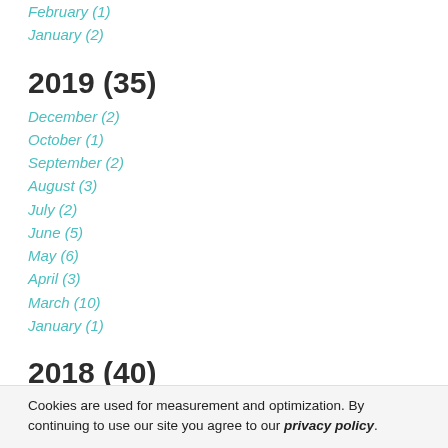February (1)
January (2)
2019 (35)
December (2)
October (1)
September (2)
August (3)
July (2)
June (5)
May (6)
April (3)
March (10)
January (1)
2018 (40)
December (2)
October (1)
September (5)
Cookies are used for measurement and optimization. By continuing to use our site you agree to our privacy policy.